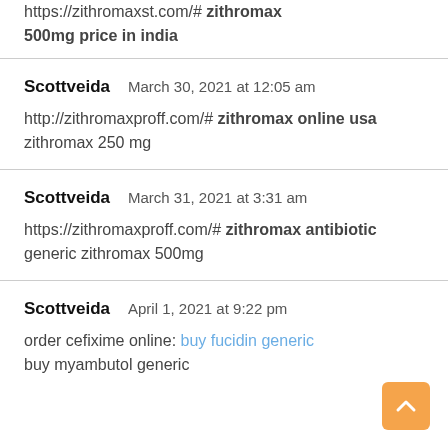https://zithromaxst.com/# zithromax 500mg price in india
Scottveida   March 30, 2021 at 12:05 am
http://zithromaxproff.com/# zithromax online usa
zithromax 250 mg
Scottveida   March 31, 2021 at 3:31 am
https://zithromaxproff.com/# zithromax antibiotic
generic zithromax 500mg
Scottveida   April 1, 2021 at 9:22 pm
order cefixime online: buy fucidin generic
buy myambutol generic